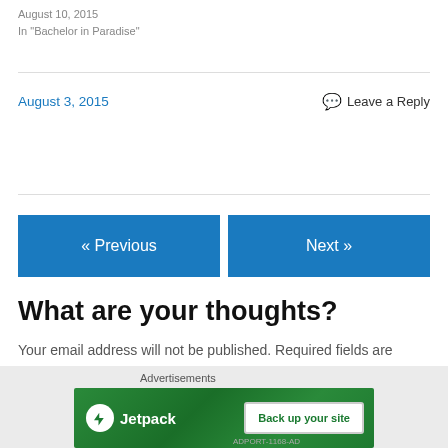August 10, 2015
In "Bachelor in Paradise"
August 3, 2015      Leave a Reply
« Previous
Next »
What are your thoughts?
Your email address will not be published. Required fields are marked *
Comment *
[Figure (screenshot): Jetpack advertisement banner with green background, showing Jetpack logo and 'Back up your site' button]